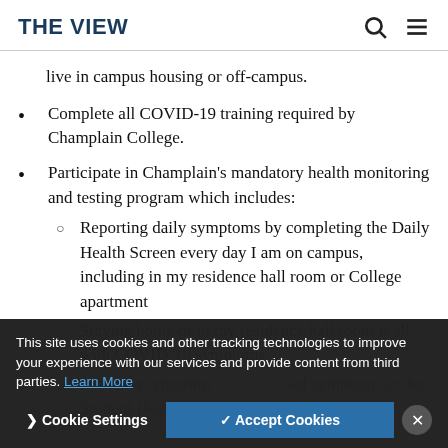THE VIEW
live in campus housing or off-campus.
Complete all COVID-19 training required by Champlain College.
Participate in Champlain’s mandatory health monitoring and testing program which includes:
Reporting daily symptoms by completing the Daily Health Screen every day I am on campus, including in my residence hall room or College apartment
Staying home or in my residence hall room if all with COVID-19 symptoms.
Promptly reporting symptoms to the Student Health Center
This site uses cookies and other tracking technologies to improve your experience with our services and provide content from third parties. Learn More